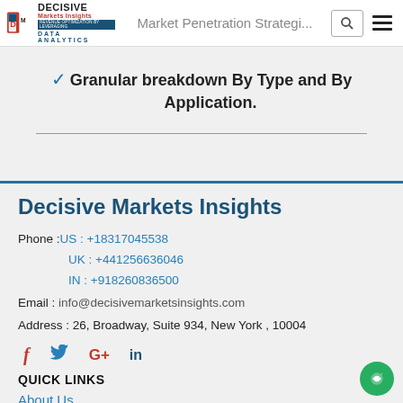Decisive Markets Insights — Market Penetration Strategies
✔ Granular breakdown By Type and By Application.
Decisive Markets Insights
Phone : US : +18317045538 UK : +441256636046 IN : +918260836500
Email : info@decisivemarketsinsights.com
Address : 26, Broadway, Suite 934, New York , 10004
Social icons: f  Twitter  G+  in
QUICK LINKS
About Us